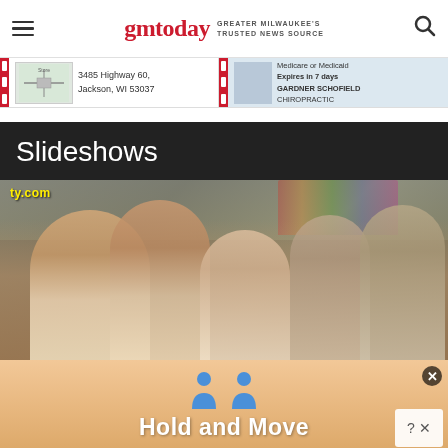gmtoday GREATER MILWAUKEE'S TRUSTED NEWS SOURCE
[Figure (photo): Advertisement banner with address 3485 Highway 60, Jackson, WI 53037 and Gardner Schofield Chiropractic ad]
Slideshows
[Figure (photo): Crowd scene photo with children and adults at an outdoor event, with ty.com watermark visible, bounce house in background]
[Figure (infographic): Hold and Move advertisement with blue person icons and text on a peach/tan gradient background]